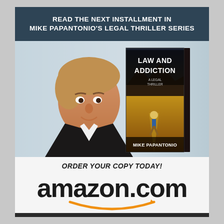READ THE NEXT INSTALLMENT IN MIKE PAPANTONIO'S LEGAL THRILLER SERIES
[Figure (illustration): Composite image: man in suit (Mike Papantonio) on left with book cover 'Law and Addiction - A Legal Thriller by Mike Papantonio' on right]
ORDER YOUR COPY TODAY!
[Figure (logo): Amazon.com logo with orange smile arrow]